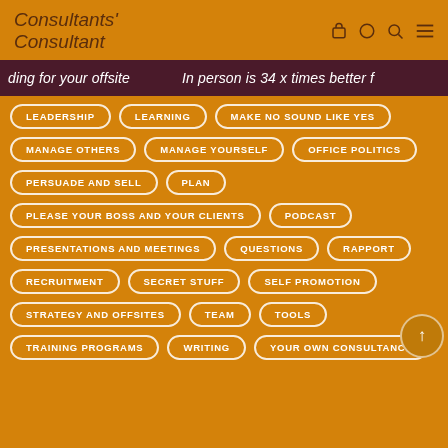Consultants' Consultant
ding for your offsite   In person is 34 x times better f
LEADERSHIP
LEARNING
MAKE NO SOUND LIKE YES
MANAGE OTHERS
MANAGE YOURSELF
OFFICE POLITICS
PERSUADE AND SELL
PLAN
PLEASE YOUR BOSS AND YOUR CLIENTS
PODCAST
PRESENTATIONS AND MEETINGS
QUESTIONS
RAPPORT
RECRUITMENT
SECRET STUFF
SELF PROMOTION
STRATEGY AND OFFSITES
TEAM
TOOLS
TRAINING PROGRAMS
WRITING
YOUR OWN CONSULTANCY